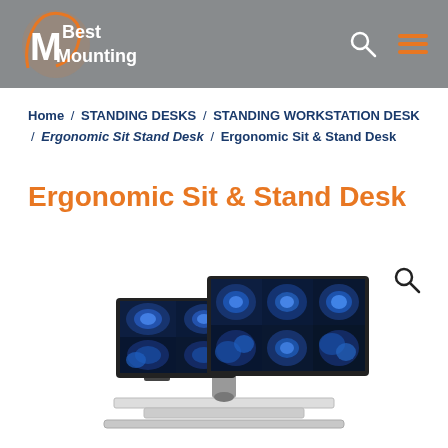Best Mounting logo, search icon, menu icon
Home / STANDING DESKS / STANDING WORKSTATION DESK / Ergonomic Sit Stand Desk / Ergonomic Sit & Stand Desk
Ergonomic Sit & Stand Desk
[Figure (photo): Product photo of an ergonomic sit-stand desk workstation with two monitors displaying medical brain scan MRI images, with keyboard tray, on a white background.]